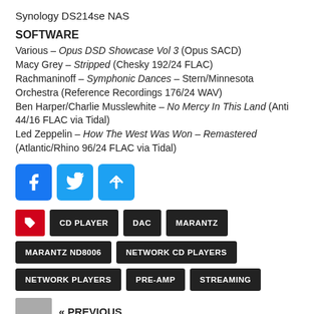Synology DS214se NAS
SOFTWARE
Various – Opus DSD Showcase Vol 3 (Opus SACD)
Macy Grey – Stripped (Chesky 192/24 FLAC)
Rachmaninoff – Symphonic Dances – Stern/Minnesota Orchestra (Reference Recordings 176/24 WAV)
Ben Harper/Charlie Musslewhite – No Mercy In This Land (Anti 44/16 FLAC via Tidal)
Led Zeppelin – How The West Was Won – Remastered (Atlantic/Rhino 96/24 FLAC via Tidal)
[Figure (infographic): Social sharing buttons: Facebook, Twitter, Share]
CD PLAYER
DAC
MARANTZ
MARANTZ ND8006
NETWORK CD PLAYERS
NETWORK PLAYERS
PRE-AMP
STREAMING
« PREVIOUS